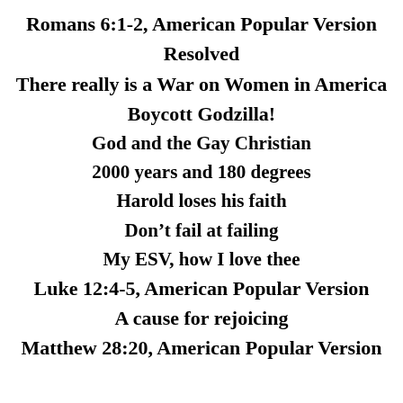Romans 6:1-2, American Popular Version
Resolved
There really is a War on Women in America
Boycott Godzilla!
God and the Gay Christian
2000 years and 180 degrees
Harold loses his faith
Don’t fail at failing
My ESV, how I love thee
Luke 12:4-5, American Popular Version
A cause for rejoicing
Matthew 28:20, American Popular Version